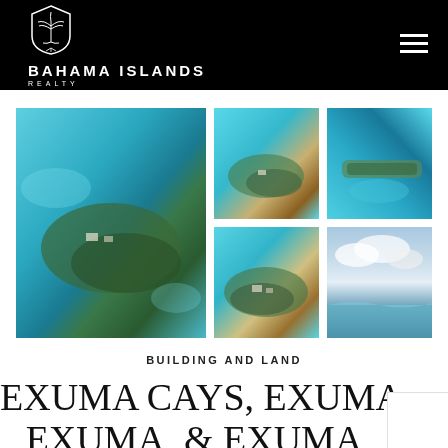[Figure (logo): Bahama Islands Realty logo with palm tree emblem on black header background]
[Figure (photo): Large aerial photo of island with turquoise water, green vegetation and buildings]
[Figure (photo): Small aerial photo top-right showing island with sandy beach and turquoise water]
[Figure (photo): Small aerial photo top-far-right showing narrow island strip in turquoise water]
[Figure (photo): Small aerial photo bottom-middle showing island with buildings and clear blue water]
[Figure (photo): Small aerial photo bottom-far-right showing coastline with clouds]
BUILDING AND LAND
EXUMA CAYS, EXUMA, EXUMA, & EXUMA